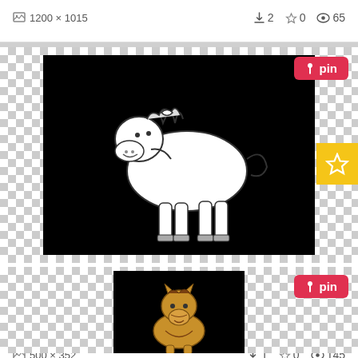1200×1015  ⬇2  ☆0  👁65
[Figure (illustration): Cute cartoon horse/pony outline drawing in black and white on black background, centered in card with checkerboard transparent background pattern around it]
Horse clip art cute. Pony and white image
Cute pony clip art | and White Horse Clip Art Image - black and white outline of a horse .. Pony and white image
500×352  ⬇1  ☆0  👁145
[Figure (illustration): Cute cartoon brown horse/pony standing facing forward on black background, partially visible at bottom of page]